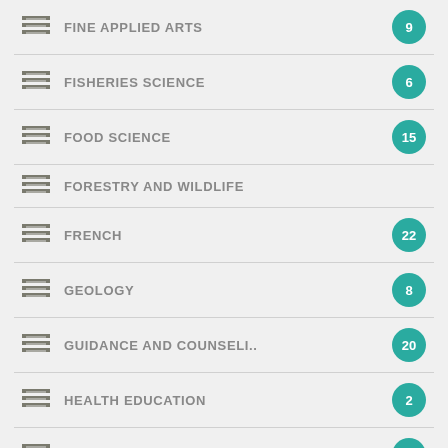FINE APPLIED ARTS
FISHERIES SCIENCE
FOOD SCIENCE
FORESTRY AND WILDLIFE
FRENCH
GEOLOGY
GUIDANCE AND COUNSELI..
HEALTH EDUCATION
HEALTH SCIENCE